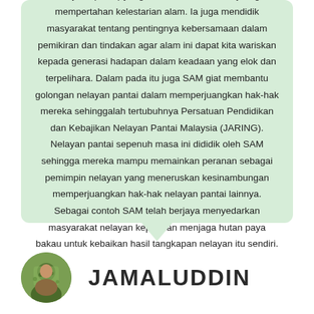Sahabat Alam Malaysia adalah satu badan bukan kerajaan (NGO) yang telah sekian lama berjuang mempertahan kelestarian alam. Ia juga mendidik masyarakat tentang pentingnya kebersamaan dalam pemikiran dan tindakan agar alam ini dapat kita wariskan kepada generasi hadapan dalam keadaan yang elok dan terpelihara. Dalam pada itu juga SAM giat membantu golongan nelayan pantai dalam memperjuangkan hak-hak mereka sehinggalah tertubuhnya Persatuan Pendidikan dan Kebajikan Nelayan Pantai Malaysia (JARING). Nelayan pantai sepenuh masa ini dididik oleh SAM sehingga mereka mampu memainkan peranan sebagai pemimpin nelayan yang meneruskan kesinambungan memperjuangkan hak-hak nelayan pantai lainnya. Sebagai contoh SAM telah berjaya menyedarkan masyarakat nelayan keperluan menjaga hutan paya bakau untuk kebaikan hasil tangkapan nelayan itu sendiri.
[Figure (photo): Circular avatar photo of a person, partially visible at bottom left of the page]
JAMALUDDIN